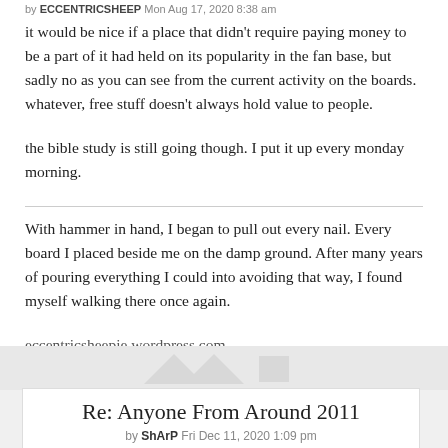by ECCENTRICSHEEP Mon Aug 17, 2020 8:38 am
it would be nice if a place that didn't require paying money to be a part of it had held on its popularity in the fan base, but sadly no as you can see from the current activity on the boards. whatever, free stuff doesn't always hold value to people.
the bible study is still going though. I put it up every monday morning.
With hammer in hand, I began to pull out every nail. Every board I placed beside me on the damp ground. After many years of pouring everything I could into avoiding that way, I found myself walking there once again.
eccentricsheepie.wordpress.com
Re: Anyone From Around 2011
by ShArP Fri Dec 11, 2020 1:09 pm